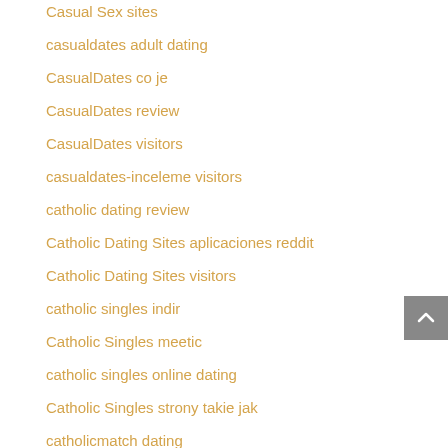Casual Sex sites
casualdates adult dating
CasualDates co je
CasualDates review
CasualDates visitors
casualdates-inceleme visitors
catholic dating review
Catholic Dating Sites aplicaciones reddit
Catholic Dating Sites visitors
catholic singles indir
Catholic Singles meetic
catholic singles online dating
Catholic Singles strony takie jak
catholicmatch dating
Catholicmatch meetic